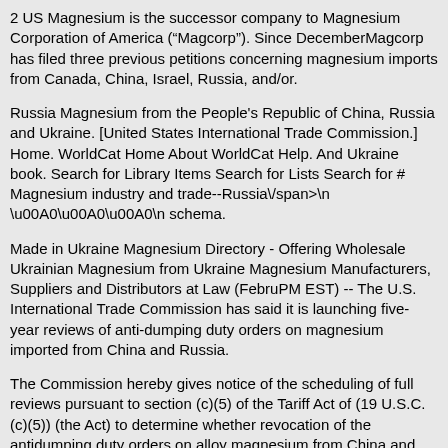2 US Magnesium is the successor company to Magnesium Corporation of America (“Magcorp”). Since DecemberMagcorp has filed three previous petitions concerning magnesium imports from Canada, China, Israel, Russia, and/or.
Russia Magnesium from the People's Republic of China, Russia and Ukraine. [United States International Trade Commission.] Home. WorldCat Home About WorldCat Help. And Ukraine book. Search for Library Items Search for Lists Search for # Magnesium industry and trade--Russia\/span>\n\u00A0\u00A0\u00A0\n schema.
Made in Ukraine Magnesium Directory - Offering Wholesale Ukrainian Magnesium from Ukraine Magnesium Manufacturers, Suppliers and Distributors at Law (FebruPM EST) -- The U.S. International Trade Commission has said it is launching five-year reviews of anti-dumping duty orders on magnesium imported from China and Russia.
The Commission hereby gives notice of the scheduling of full reviews pursuant to section (c)(5) of the Tariff Act of (19 U.S.C. (c)(5)) (the Act) to determine whether revocation of the antidumping duty orders on alloy magnesium from China and pure and alloy magnesium from Russia would.